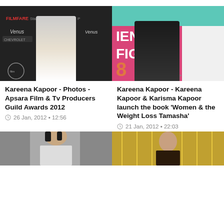[Figure (photo): Kareena Kapoor in white strapless dress at Apsara Film & Tv Producers Guild Awards 2012, posing against black backdrop with 'Venus' and 'Colors' logos]
[Figure (photo): Kareena Kapoor speaking into microphone in black polka dot jacket at the launch of book 'Women & the Weight Loss Tamasha', pink and white banner visible in background]
Kareena Kapoor - Photos - Apsara Film & Tv Producers Guild Awards 2012
26 Jan, 2012 • 12:56
Kareena Kapoor - Kareena Kapoor & Karisma Kapoor launch the book 'Women & the Weight Loss Tamasha'
21 Jan, 2012 • 22:03
[Figure (photo): Partial photo of Kareena Kapoor, grey/white tones, bottom portion visible]
[Figure (photo): Partial photo showing chandelier or decorative gold elements in background, person visible]